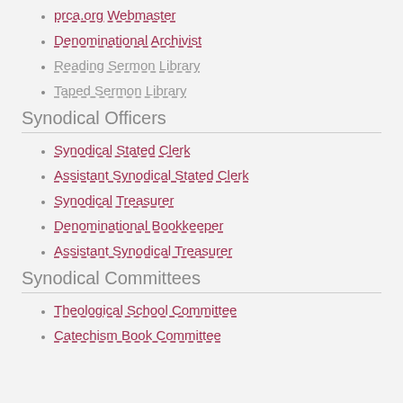prca.org Webmaster
Denominational Archivist
Reading Sermon Library
Taped Sermon Library
Synodical Officers
Synodical Stated Clerk
Assistant Synodical Stated Clerk
Synodical Treasurer
Denominational Bookkeeper
Assistant Synodical Treasurer
Synodical Committees
Theological School Committee
Catechism Book Committee